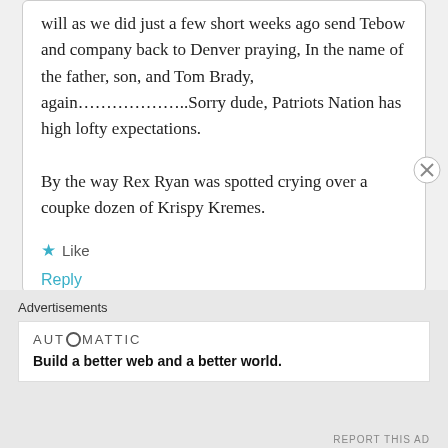will as we did just a few short weeks ago send Tebow and company back to Denver praying, In the name of the father, son, and Tom Brady, again………………..Sorry dude, Patriots Nation has high lofty expectations.

By the way Rex Ryan was spotted crying over a coupke dozen of Krispy Kremes.
★ Like
Reply
Advertisements
AUTOMATTIC
Build a better web and a better world.